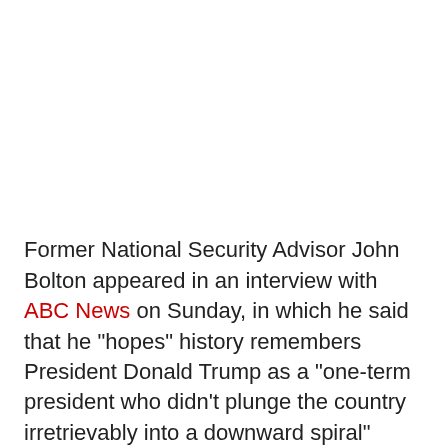Former National Security Advisor John Bolton appeared in an interview with ABC News on Sunday, in which he said that he "hopes" history remembers President Donald Trump as a "one-term president who didn't plunge the country irretrievably into a downward spiral"